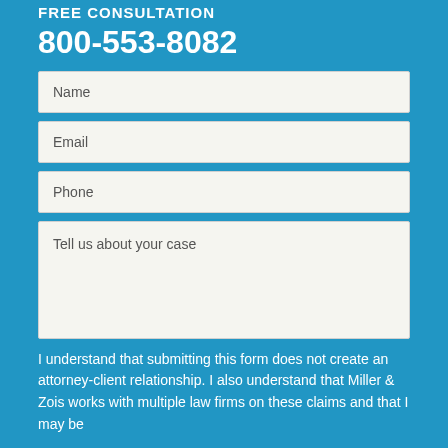FREE CONSULTATION
800-553-8082
Name
Email
Phone
Tell us about your case
I understand that submitting this form does not create an attorney-client relationship. I also understand that Miller & Zois works with multiple law firms on these claims and that I may be